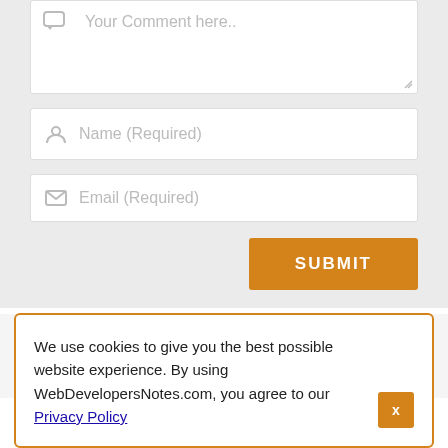[Figure (screenshot): Comment textarea with placeholder text 'Your Comment here..' and a chat bubble icon]
[Figure (screenshot): Name input field with placeholder 'Name (Required)' and a person icon]
[Figure (screenshot): Email input field with placeholder 'Email (Required)' and an envelope icon]
SUBMIT
Pat on December 27th, 2016 11:46 pm
We use cookies to give you the best possible website experience. By using WebDevelopersNotes.com, you agree to our Privacy Policy